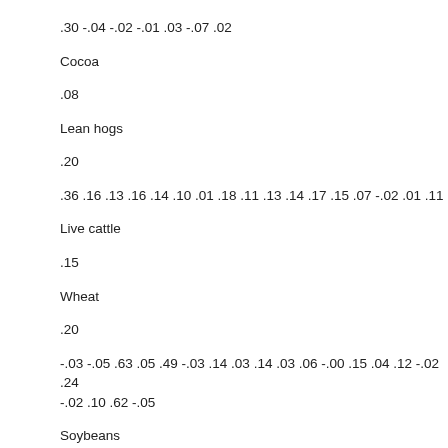.30 -.04 -.02 -.01 .03 -.07 .02
Cocoa
.08
Lean hogs
.20
.36 .16 .13 .16 .14 .10 .01 .18 .11 .13 .14 .17 .15 .07 -.02 .01 .11
Live cattle
.15
Wheat
.20
-.03 -.05 .63 .05 .49 -.03 .14 .03 .14 .03 .06 -.00 .15 .04 .12 -.02 .24 -.02 .10 .62 -.05
Soybeans